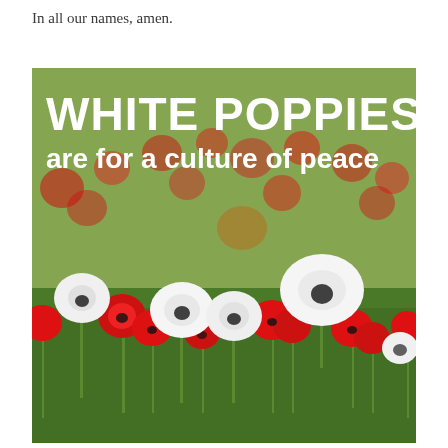In all our names, amen.
[Figure (photo): Photograph of a field of red poppies with several white poppies mixed in. Overlaid white bold text reads 'WHITE POPPIES are for a culture of peace'.]